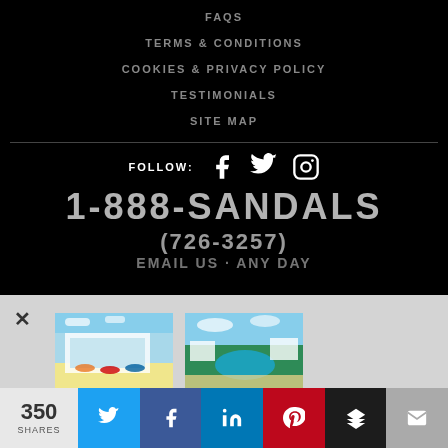FAQS
TERMS & CONDITIONS
COOKIES & PRIVACY POLICY
TESTIMONIALS
SITE MAP
FOLLOW:
1-888-SANDALS
[Figure (screenshot): Overlay popup showing two resort cards: Sandals Royal Bahamian (beach/hotel photo) and Sandals Emerald Bay (aerial pool/beach photo)]
Sandals Royal Bahamian
Sandals Emerald Bay
350 SHARES
Social share bar with Twitter, Facebook, LinkedIn, Pinterest, Buffer, Email buttons